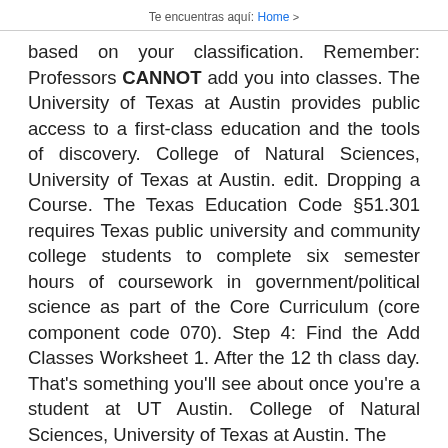Te encuentras aquí: Home >
based on your classification. Remember: Professors CANNOT add you into classes. The University of Texas at Austin provides public access to a first-class education and the tools of discovery. College of Natural Sciences, University of Texas at Austin. edit. Dropping a Course. The Texas Education Code §51.301 requires Texas public university and community college students to complete six semester hours of coursework in government/political science as part of the Core Curriculum (core component code 070). Step 4: Find the Add Classes Worksheet 1. After the 12 th class day. That's something you'll see about once you're a student at UT Austin. College of Natural Sciences, University of Texas at Austin. The